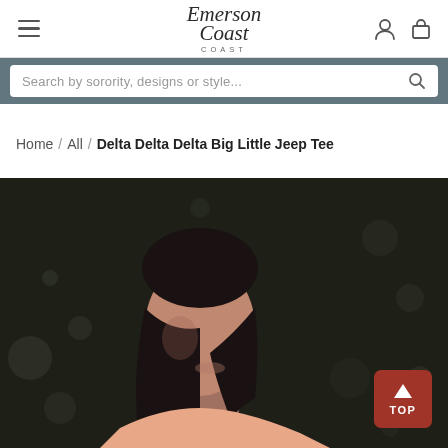Emerson Coast — navigation header with hamburger menu, logo, user and cart icons
Search by sorority, designs or style...
Home / All / Delta Delta Delta Big Little Jeep Tee
[Figure (photo): Close-up photo of a dark-haired woman smiling, wearing a peach/pink t-shirt, photographed outdoors with dark green foliage bokeh background. A red 'TOP' scroll-to-top button is visible in the lower right of the image.]